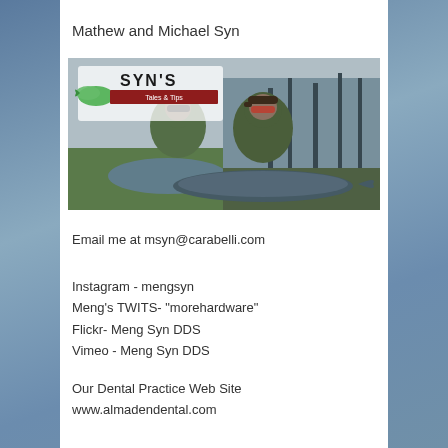Mathew and Michael Syn
[Figure (photo): Two children in camouflage jackets and sunglasses holding a large fish outdoors, with a Syn's Tales & Tips logo overlay in the upper left corner showing a jumping trout.]
Email me at msyn@carabelli.com
Instagram - mengsyn
Meng's TWITS- "morehardware"
Flickr- Meng Syn DDS
Vimeo - Meng Syn DDS
Our Dental Practice Web Site
www.almadendental.com